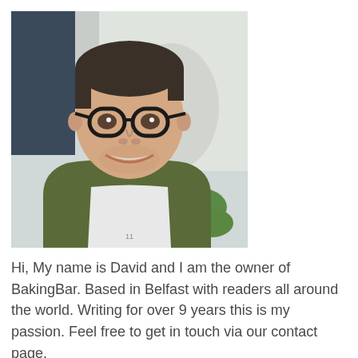[Figure (photo): Portrait photo of a young man with short hair, wearing glasses with dark round frames, a green/olive puffer jacket over a white t-shirt, smiling at the camera. Background shows a window/door and green plant leaves.]
Hi, My name is David and I am the owner of BakingBar. Based in Belfast with readers all around the world. Writing for over 9 years this is my passion. Feel free to get in touch via our contact page.